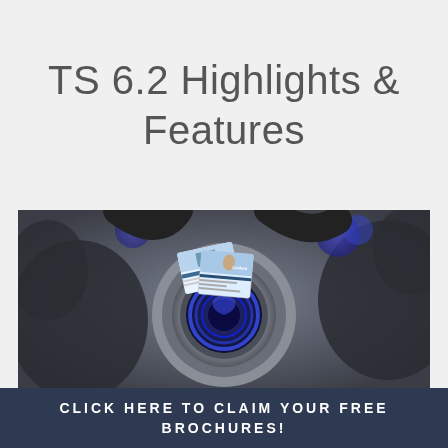TS 6.2 Highlights & Features
[Figure (photo): Close-up macro photograph of a hot tub jet mechanism in metallic grey and blue tones, with small Caldera Spas brochure cards placed on top of the jet]
CLICK HERE TO CLAIM YOUR FREE BROCHURES!